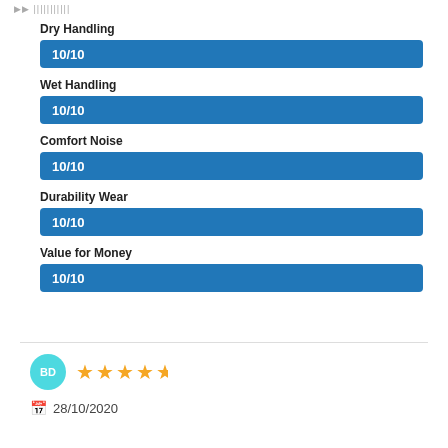▶▶ |||||||||||
[Figure (bar-chart): Ratings]
BD  ★★★★½  28/10/2020